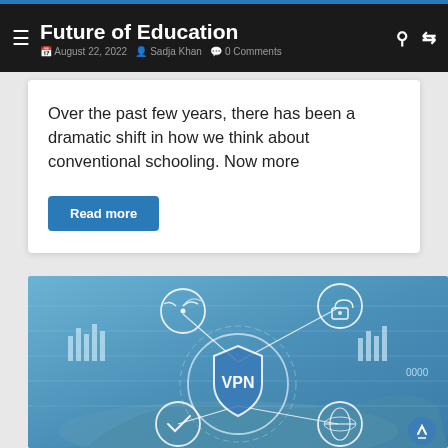Future of Education — August 22, 2022 · Sadja Khan · 0 Comments
Over the past few years, there has been a dramatic shift in how we think about conventional schooling. Now more
Read more
[Figure (photo): A VPN concept illustration: a person's hands holding a holographic digital display featuring a central shield icon labeled 'VPN', surrounded by interconnected circles with icons for wifi, security lock, settings/checkmark, and globe, with digital data graphics in the background on a blue-toned background.]